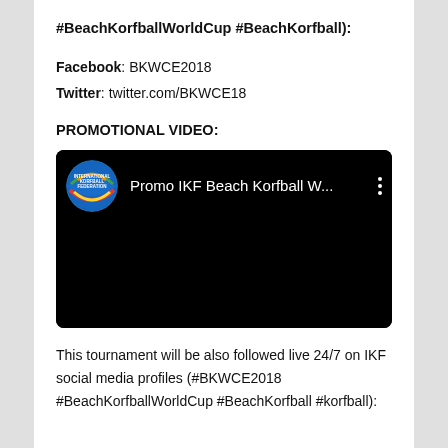#BeachKorfballWorldCup #BeachKorfball):
Facebook: BKWCE2018
Twitter: twitter.com/BKWCE18
PROMOTIONAL VIDEO:
[Figure (screenshot): YouTube video thumbnail showing IKF (International Korfball Federation) logo and video title 'Promo IKF Beach Korfball W...' with black background and three-dot menu icon]
This tournament will be also followed live 24/7 on IKF social media profiles (#BKWCE2018 #BeachKorfballWorldCup #BeachKorfball #korfball):